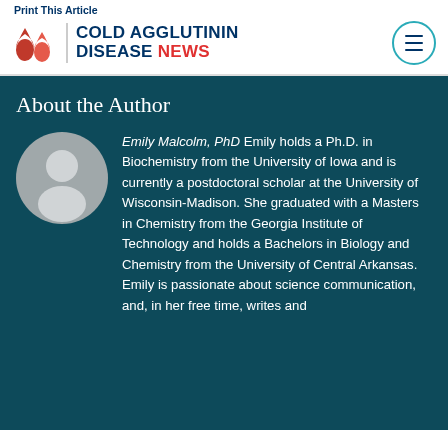Print This Article
[Figure (logo): Cold Agglutinin Disease News logo with red drop icons and menu button]
About the Author
[Figure (photo): Generic gray placeholder avatar of a person silhouette in a circle]
Emily Malcolm, PhD Emily holds a Ph.D. in Biochemistry from the University of Iowa and is currently a postdoctoral scholar at the University of Wisconsin-Madison. She graduated with a Masters in Chemistry from the Georgia Institute of Technology and holds a Bachelors in Biology and Chemistry from the University of Central Arkansas. Emily is passionate about science communication, and, in her free time, writes and